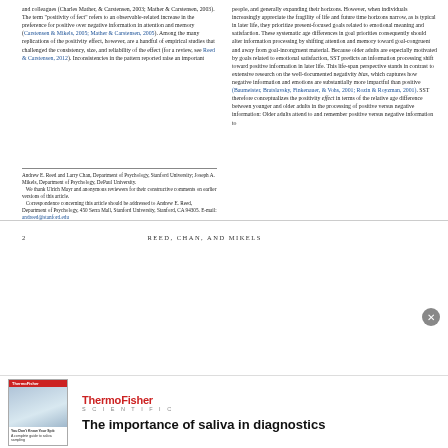and colleagues (Charles Mather, & Carstensen, 2003; Mather & Carstensen, 2003). The term 'positivity of fect' refers to an observable-related increase in the preference for positive over negative information in attention and memory (Carstensen & Mikels, 2005; Mather & Carstensen, 2005). Among the many replications of the positivity effect, however, are a handful of empirical studies that challenged the consistency, size, and reliability of the effect (for a review, see Reed & Carstensen, 2012). Inconsistencies in the pattern reported raise an important
people, and generally expanding their horizons. However, when individuals increasingly appreciate the fragility of life and future time horizons narrow, as is typical in later life, they prioritize present-focused goals related to emotional meaning and satisfaction. These systematic age differences in goal priorities consequently should alter information processing by shifting attention and memory toward goal-congruent and away from goal-incongruent material. Because older adults are especially motivated by goals related to emotional satisfaction, SST predicts an information processing shift toward positive information in later life. This life-span perspective stands in contrast to extensive research on the well-documented negativity bias, which captures how negative information and emotions are substantially more impactful than positive (Baumeister, Bratslavsky, Finkenauer, & Vohs, 2001; Rozin & Royzman, 2001). SST therefore conceptualizes the positivity effect in terms of the relative age difference between younger and older adults in the processing of positive versus negative information: Older adults attend to and remember positive versus negative information to
Andrew E. Reed and Larry Chan, Department of Psychology, Stanford University; Joseph A. Mikels, Department of Psychology, DePaul University.
   We thank Ulrich Mayr and anonymous reviewers for their constructive comments on earlier versions of this article.
   Correspondence concerning this article should be addressed to Andrew E. Reed, Department of Psychology, 450 Serra Mall, Stanford University, Stanford, CA 94305. E-mail: andreed@stanford.edu
2                                        REED, CHAN, AND MIKELS
a greater extent than younger adults (Carstensen & Mikels, 2005; Mather & Carstensen, 2005). Based on this conceptualization, the critical contrast for the positivity effect is between positive and negative information. This perspective on the positivity effect converges with the theoretical basis of the negativity bias as a "bad is stronger than good" (Baumeister et al., 2001) and affords comparisons between the two literatures (for a discussion see Carstensen & Mikels, 2005; Mikels, Reed,
2005; Majorus & D'Argembau, 2011) or implicitly (Gallo et al., 2009) or when they are required to make explicit judgments about experimental stimuli at encoding (e.g., Kanangir, Brierley, Mulford, Govedin, & Conlin, 2002). By contrast, studies that afford and encourage naturalistic and unconstrained processing of stimuli (e.g., inviting participants to view images as they would a TV) observe (Turlose et al., 2003; Isaacowitz et al., 2006; Keon, Schaibe, Samani, Larkin, Tsai, & Carstensen, 2009)
[Figure (logo): ThermoFisher Scientific advertisement with book image and tagline 'The importance of saliva in diagnostics']